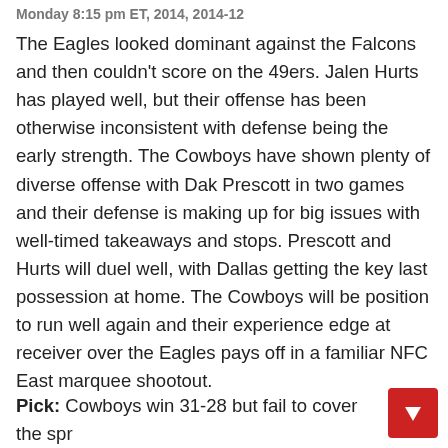Monday 8:15 pm ET, 2014, 2014-12
The Eagles looked dominant against the Falcons and then couldn't score on the 49ers. Jalen Hurts has played well, but their offense has been otherwise inconsistent with defense being the early strength. The Cowboys have shown plenty of diverse offense with Dak Prescott in two games and their defense is making up for big issues with well-timed takeaways and stops. Prescott and Hurts will duel well, with Dallas getting the key last possession at home. The Cowboys will be position to run well again and their experience edge at receiver over the Eagles pays off in a familiar NFC East marquee shootout.
Pick: Cowboys win 31-28 but fail to cover the spr…